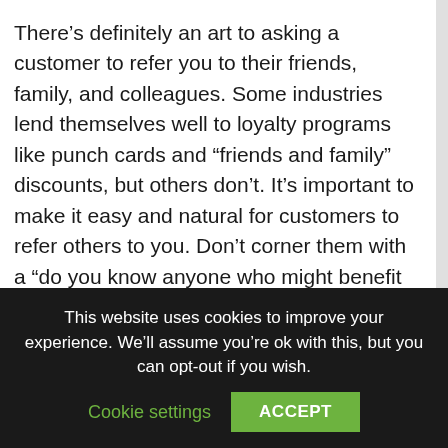There's definitely an art to asking a customer to refer you to their friends, family, and colleagues. Some industries lend themselves well to loyalty programs like punch cards and “friends and family” discounts, but others don’t. It’s important to make it easy and natural for customers to refer others to you. Don’t corner them with a “do you know anyone who might benefit from our services” conversation. Instead, do excellent work for them and then leave a few flyers or pamphlets for them to show their friends and
This website uses cookies to improve your experience. We’ll assume you’re ok with this, but you can opt-out if you wish.
Cookie settings
ACCEPT